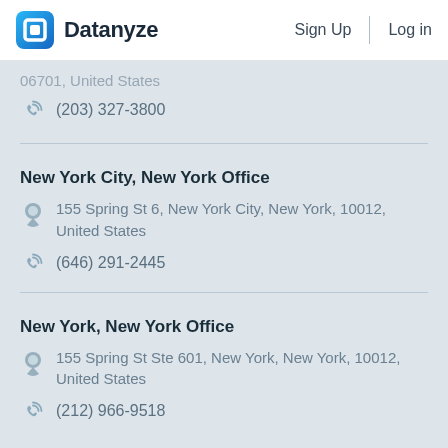Datanyze | Sign Up | Log in
06701, United States
(203) 327-3800
New York City, New York Office
155 Spring St 6, New York City, New York, 10012, United States
(646) 291-2445
New York, New York Office
155 Spring St Ste 601, New York, New York, 10012, United States
(212) 966-9518